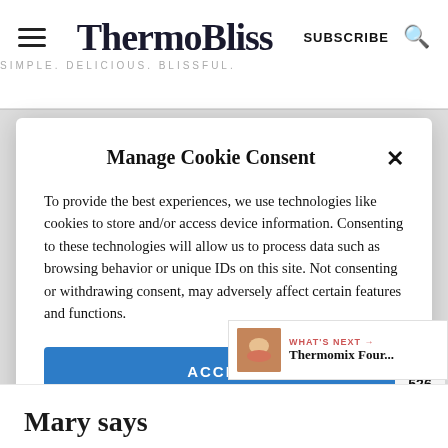ThermoBliss — SIMPLE. DELICIOUS. BLISSFUL.
Manage Cookie Consent
To provide the best experiences, we use technologies like cookies to store and/or access device information. Consenting to these technologies will allow us to process data such as browsing behavior or unique IDs on this site. Not consenting or withdrawing consent, may adversely affect certain features and functions.
ACCEPT
Privacy Policy
WHAT'S NEXT → Thermomix Four...
Mary says